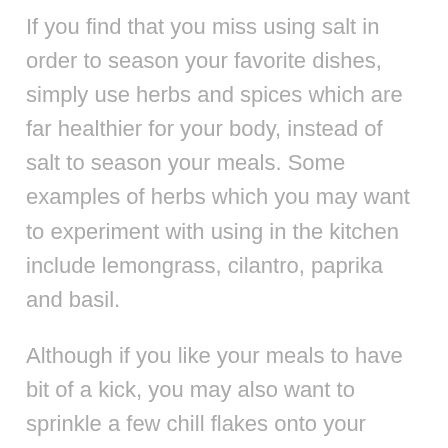If you find that you miss using salt in order to season your favorite dishes, simply use herbs and spices which are far healthier for your body, instead of salt to season your meals. Some examples of herbs which you may want to experiment with using in the kitchen include lemongrass, cilantro, paprika and basil.
Although if you like your meals to have bit of a kick, you may also want to sprinkle a few chill flakes onto your meals.
2. When you treat yourself to unhealthy foods, make sure to control your portion size.